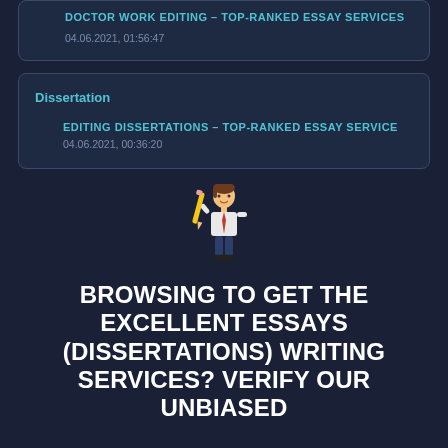DOCTOR WORK EDITING – TOP-RANKED ESSAY SERVICES
04.06.2021, 01:56:47
Dissertation
EDITING DISSERTATIONS – TOP-RANKED ESSAY SERVICE
04.06.2021, 00:36:20
[Figure (illustration): Cartoon mascot of a businessman holding a large pencil]
BROWSING TO GET THE EXCELLENT ESSAYS (DISSERTATIONS) WRITING SERVICES? VERIFY OUR UNBIASED